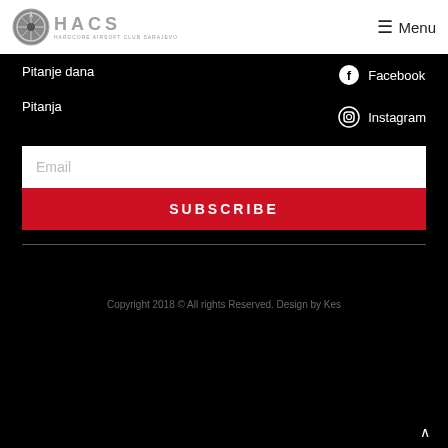HACS | Menu
Pitanje dana
Pitanja
Facebook
Instagram
Email
SUBSCRIBE
Copyright 2018 © All rights Reserved. Design by Kes